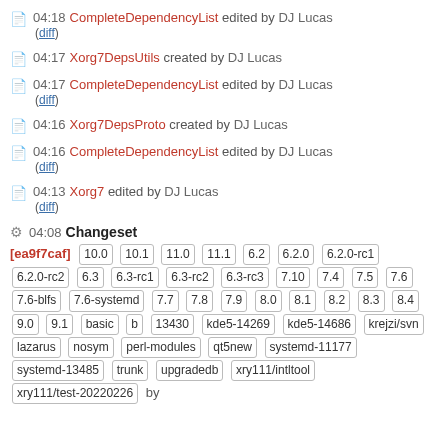04:18 CompleteDependencyList edited by DJ Lucas (diff)
04:17 Xorg7DepsUtils created by DJ Lucas
04:17 CompleteDependencyList edited by DJ Lucas (diff)
04:16 Xorg7DepsProto created by DJ Lucas
04:16 CompleteDependencyList edited by DJ Lucas (diff)
04:13 Xorg7 edited by DJ Lucas (diff)
04:08 Changeset [ea9f7caf] 10.0 10.1 11.0 11.1 6.2 6.2.0 6.2.0-rc1 6.2.0-rc2 6.3 6.3-rc1 6.3-rc2 6.3-rc3 7.10 7.4 7.5 7.6 7.6-blfs 7.6-systemd 7.7 7.8 7.9 8.0 8.1 8.2 8.3 8.4 9.0 9.1 basic b 13430 kde5-14269 kde5-14686 krejzi/svn lazarus nosym perl-modules qt5new systemd-11177 systemd-13485 trunk upgradedb xry111/intltool xry111/test-20220226 by